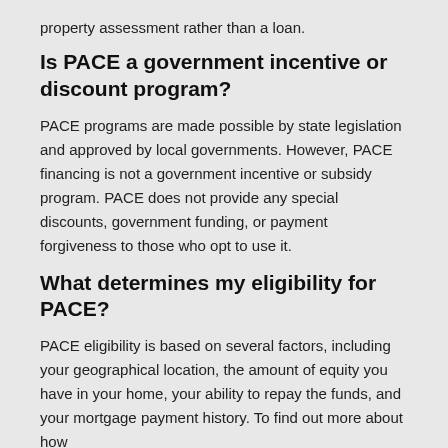property assessment rather than a loan.
Is PACE a government incentive or discount program?
PACE programs are made possible by state legislation and approved by local governments. However, PACE financing is not a government incentive or subsidy program. PACE does not provide any special discounts, government funding, or payment forgiveness to those who opt to use it.
What determines my eligibility for PACE?
PACE eligibility is based on several factors, including your geographical location, the amount of equity you have in your home, your ability to repay the funds, and your mortgage payment history. To find out more about how